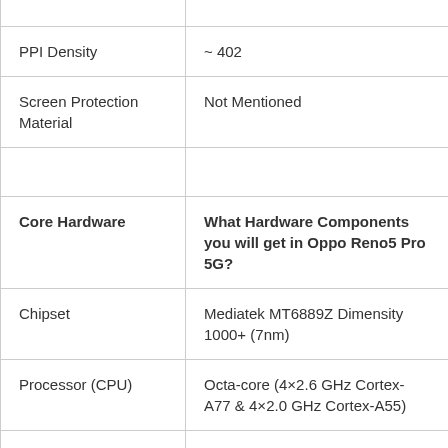| Feature | Value |
| --- | --- |
| (partial top row — cut off) | (partial top row — cut off) |
| PPI Density | ~ 402 |
| Screen Protection Material | Not Mentioned |
|  |  |
| Core Hardware | What Hardware Components you will get in Oppo Reno5 Pro 5G? |
| Chipset | Mediatek MT6889Z Dimensity 1000+ (7nm) |
| Processor (CPU) | Octa-core (4×2.6 GHz Cortex-A77 & 4×2.0 GHz Cortex-A55) |
| Graphics Processing Unit (GPU) | Mali-G77 MC9 |